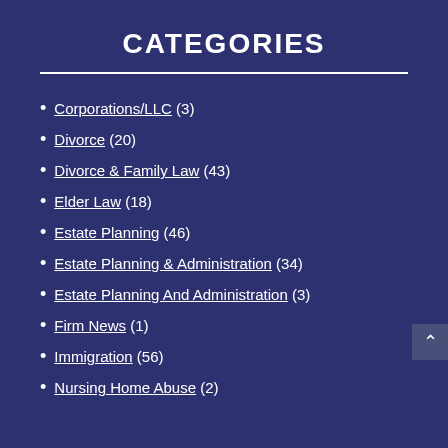CATEGORIES
Corporations/LLC (3)
Divorce (20)
Divorce & Family Law (43)
Elder Law (18)
Estate Planning (46)
Estate Planning & Administration (34)
Estate Planning And Administration (3)
Firm News (1)
Immigration (56)
Nursing Home Abuse (2)